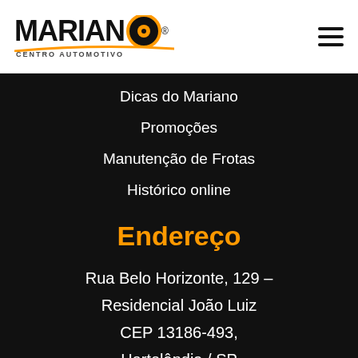[Figure (logo): Mariano Centro Automotivo logo with bold black text, orange wheel icon, and orange swoosh underline]
Dicas do Mariano
Promoções
Manutenção de Frotas
Histórico online
Contato
Endereço
Rua Belo Horizonte, 129 – Residencial João Luiz CEP 13186-493, Hortolândia / SP